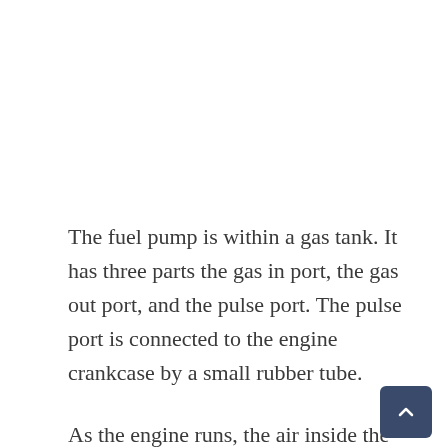The fuel pump is within a gas tank. It has three parts the gas in port, the gas out port, and the pulse port. The pulse port is connected to the engine crankcase by a small rubber tube.
As the engine runs, the air inside the crankcase alternately pressurizes and depressurizes thi breathable tubing which in turn moves a